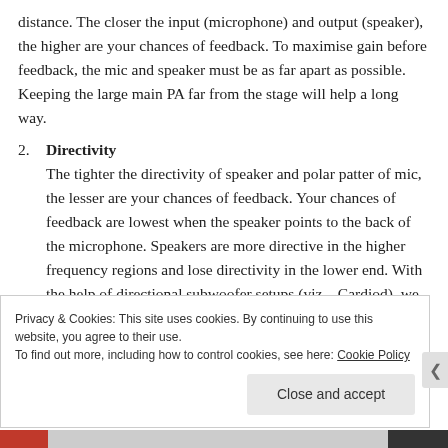distance. The closer the input (microphone) and output (speaker), the higher are your chances of feedback. To maximise gain before feedback, the mic and speaker must be as far apart as possible. Keeping the large main PA far from the stage will help a long way.
2. Directivity
The tighter the directivity of speaker and polar patter of mic, the lesser are your chances of feedback. Your chances of feedback are lowest when the speaker points to the back of the microphone. Speakers are more directive in the higher frequency regions and lose directivity in the lower end. With the help of directional subwoofer setups (viz – Cardiod), we will be able to
Privacy & Cookies: This site uses cookies. By continuing to use this website, you agree to their use.
To find out more, including how to control cookies, see here: Cookie Policy
Close and accept